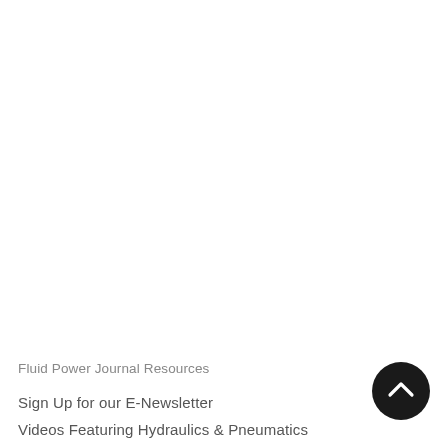Fluid Power Journal Resources
Sign Up for our E-Newsletter
Videos Featuring Hydraulics & Pneumatics
[Figure (illustration): Dark circular scroll-to-top button with upward-pointing chevron arrow, positioned in lower right corner]